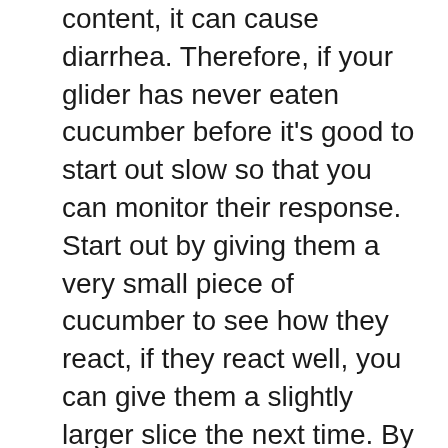content, it can cause diarrhea. Therefore, if your glider has never eaten cucumber before it's good to start out slow so that you can monitor their response. Start out by giving them a very small piece of cucumber to see how they react, if they react well, you can give them a slightly larger slice the next time. By introducing new food to their diet this way you give their digestive system some time to adjust, making it much easier on your glider to get used to this delicious new food.
As long as you give your glider a large variety of different kinds of fruits and